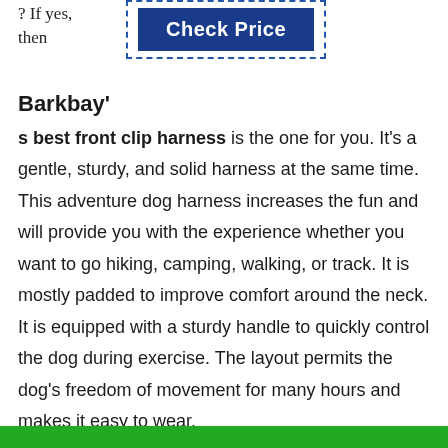? If yes, then
[Figure (other): Check Price button inside a dashed blue border box]
Barkbay'
s best front clip harness is the one for you. It's a gentle, sturdy, and solid harness at the same time. This adventure dog harness increases the fun and will provide you with the experience whether you want to go hiking, camping, walking, or track. It is mostly padded to improve comfort around the neck. It is equipped with a sturdy handle to quickly control the dog during exercise. The layout permits the dog's freedom of movement for many hours and makes it easy to wear.
[Figure (other): Green bar at the bottom of the page]